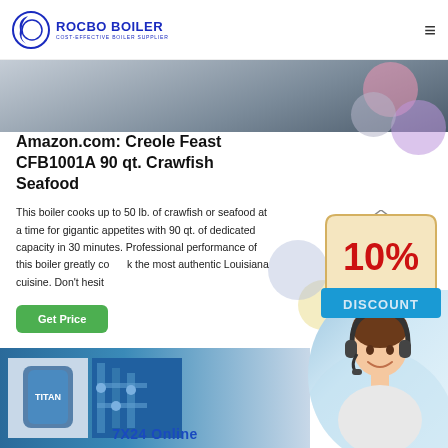[Figure (logo): Rocbo Boiler logo with crescent moon icon and text 'ROCBO BOILER - COST-EFFECTIVE BOILER SUPPLIER']
[Figure (photo): Top partial photo strip showing industrial/kitchen equipment, grey tones]
Amazon.com: Creole Feast CFB1001A 90 qt. Crawfish Seafood
This boiler cooks up to 50 lb. of crawfish or seafood at a time for gigantic appetites with 90 qt. of dedicated capacity in 30 minutes. Professional performance of this boiler greatly co...k the most authentic Louisiana cuisine. Don't hesit...
[Figure (illustration): Green 'Get Price' button]
[Figure (illustration): 10% DISCOUNT badge with red text on cream/tan background]
[Figure (photo): Customer service representative with headset, smiling woman]
[Figure (photo): Bottom industrial boiler/equipment photos showing blue industrial boilers and piping]
7X24 Online